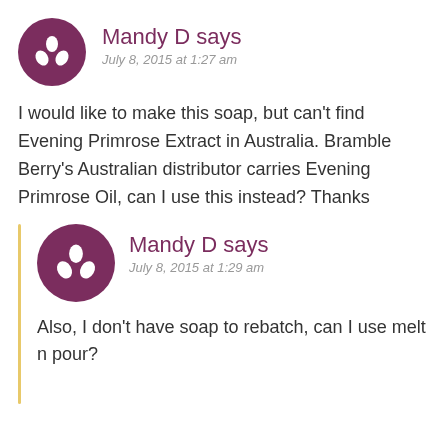Mandy D says
July 8, 2015 at 1:27 am
I would like to make this soap, but can’t find Evening Primrose Extract in Australia. Bramble Berry’s Australian distributor carries Evening Primrose Oil, can I use this instead? Thanks
Mandy D says
July 8, 2015 at 1:29 am
Also, I don’t have soap to rebatch, can I use melt n pour?